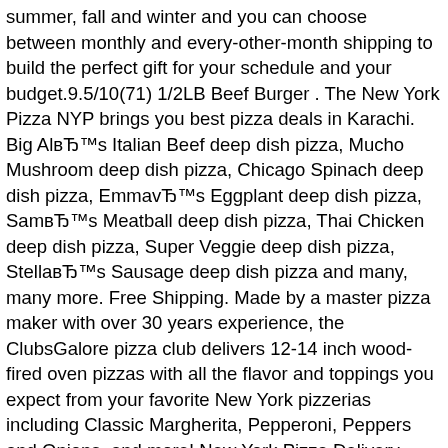summer, fall and winter and you can choose between monthly and every-other-month shipping to build the perfect gift for your schedule and your budget.9.5/10(71) 1/2LB Beef Burger . The New York Pizza NYP brings you best pizza deals in Karachi. Big AlвЂ™s Italian Beef deep dish pizza, Mucho Mushroom deep dish pizza, Chicago Spinach deep dish pizza, EmmavЂ™s Eggplant deep dish pizza, SamвЂ™s Meatball deep dish pizza, Thai Chicken deep dish pizza, Super Veggie deep dish pizza, StellавЂ™s Sausage deep dish pizza and many, many more. Free Shipping. Made by a master pizza maker with over 30 years experience, the ClubsGalore pizza club delivers 12-14 inch wood-fired oven pizzas with all the flavor and toppings you expect from your favorite New York pizzerias including Classic Margherita, Pepperoni, Peppers and Onions, and more! New York Pizza Delivery ActualizaИ›i preturile pe site ca nu corespund cu cele care le vand . This is a fun way to surprise a friend, donвЂ™t tell them the frequency, set it to bi-monthly and they will get a box of awesome when they arenвЂ™t even expecting it. You will